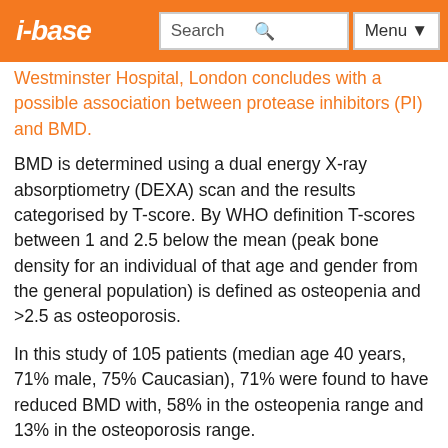i-base | Search | Menu
Westminster Hospital, London concludes with a possible association between protease inhibitors (PI) and BMD.
BMD is determined using a dual energy X-ray absorptiometry (DEXA) scan and the results categorised by T-score. By WHO definition T-scores between 1 and 2.5 below the mean (peak bone density for an individual of that age and gender from the general population) is defined as osteopenia and >2.5 as osteoporosis.
In this study of 105 patients (median age 40 years, 71% male, 75% Caucasian), 71% were found to have reduced BMD with, 58% in the osteopenia range and 13% in the osteoporosis range.
Neither age, gender, race, smoking, CD4 count or HIV RNA level at the time of the scan, BMI, self reported